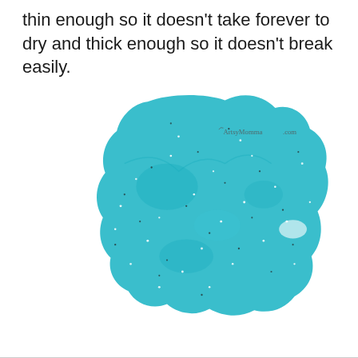thin enough so it doesn't take forever to dry and thick enough so it doesn't break easily.
[Figure (photo): A flat piece of teal/turquoise glittery salt dough or clay, rolled out into an irregular organic blob shape on a white background. The surface has sparkly glitter specks (white and black). A watermark reads 'ArtsyMomma.com' in the upper right area of the image.]